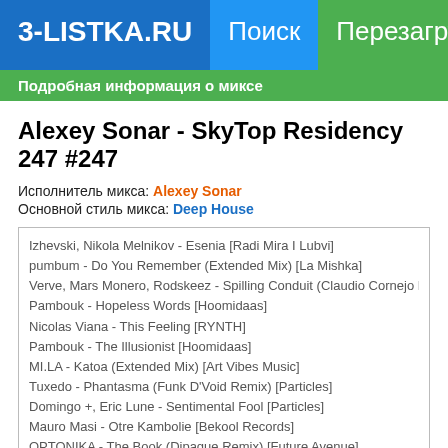3-LISTKA.RU  Поиск  Перезагрузка пр
Подробная информация о миксе
Alexey Sonar - SkyTop Residency 247 #247
Исполнитель микса: Alexey Sonar
Основной стиль микса: Deep House
Izhevski, Nikola Melnikov - Esenia [Radi Mira I Lubvi]
pumbum - Do You Remember (Extended Mix) [La Mishka]
Verve, Mars Monero, Rodskeez - Spilling Conduit (Claudio Cornejo Remix) [Mango Al
Pambouk - Hopeless Words [Hoomidaas]
Nicolas Viana - This Feeling [RYNTH]
Pambouk - The Illusionist [Hoomidaas]
MI.LA - Katoa (Extended Mix) [Art Vibes Music]
Tuxedo - Phantasma (Funk D'Void Remix) [Particles]
Domingo +, Eric Lune - Sentimental Fool [Particles]
Mauro Masi - Otre Kambolie [Bekool Records]
OPTONIKA - The Book (Dipaque Remix) [Future Avenue]
Rich Curtis - Square Root ('21 Salute) (Alex O'Rion Remix) [Meanwhile]
Deenara - Queen Wand [Sol Selectas]
Demetra, Lafreq - Make Me Feel feat. Shrii [Art Vibes Music]
Thommie G - Dancing Under the Stars [Quetame]
about river - One Word [Sound Avenue]
Felix Raphael, Armen Miran, Cafe De Anatolia - Soul Guardian [Cafe De Anatolia]
Hot Oasis - Bedouin Joy [Sol Selectas]
Marcos Rivas - Doric Lands [Bekool Records]
...